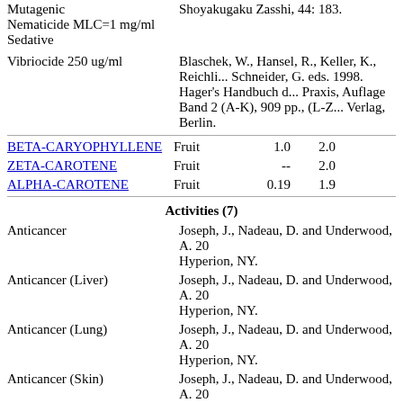Mutagenic
Nematicide MLC=1 mg/ml
Sedative
Shoyakugaku Zasshi, 44: 183.
Vibriocide 250 ug/ml
Blaschek, W., Hansel, R., Keller, K., Reichli... Schneider, G. eds. 1998. Hager's Handbuch d... Praxis, Auflage Band 2 (A-K), 909 pp., (L-Z... Verlag, Berlin.
BETA-CARYOPHYLLENE  Fruit  1.0  2.0
ZETA-CAROTENE  Fruit  --  2.0
ALPHA-CAROTENE  Fruit  0.19  1.9
Activities (7)
Anticancer
Joseph, J., Nadeau, D. and Underwood, A. 20... Hyperion, NY.
Anticancer (Liver)
Joseph, J., Nadeau, D. and Underwood, A. 20... Hyperion, NY.
Anticancer (Lung)
Joseph, J., Nadeau, D. and Underwood, A. 20... Hyperion, NY.
Anticancer (Skin)
Joseph, J., Nadeau, D. and Underwood, A. 20... Hyperion, NY.
Antiproliferant 10 x beta-carotene
Joseph, J., Nadeau, D. and Underwood, A. 20... Hyperion, NY.
Jeffery, B., Harborne and H. Baxter, eds. 1983...